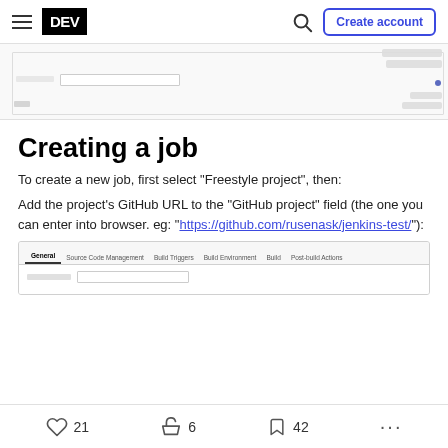DEV | Create account
[Figure (screenshot): Screenshot of a Jenkins/CI form interface showing fields and buttons]
Creating a job
To create a new job, first select "Freestyle project", then:
Add the project's GitHub URL to the "GitHub project" field (the one you can enter into browser. eg: "https://github.com/rusenask/jenkins-test/"):
[Figure (screenshot): Screenshot of Jenkins job configuration tabs: General, Source Code Management, Build Triggers, Build Environment, Build, Post-build Actions]
21 likes  6 unicorns  42 bookmarks